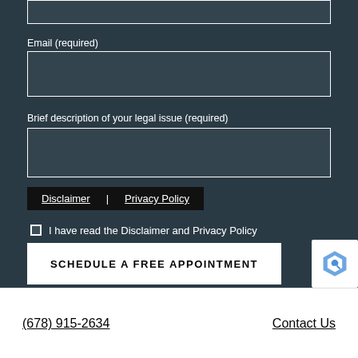Email (required)
Brief description of your legal issue (required)
Disclaimer | Privacy Policy
I have read the Disclaimer and Privacy Policy
SCHEDULE A FREE APPOINTMENT
(678) 915-2634
Contact Us